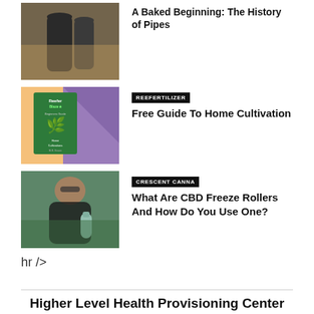[Figure (photo): Dark bottles/pipes against a blurred background with warm tones]
A Baked Beginning: The History of Pipes
[Figure (photo): ReeferBlazer Beginner's Guide to Home Cultivation book cover — green book on orange and purple geometric background]
REEFERTILIZER
Free Guide To Home Cultivation
[Figure (photo): Person outdoors holding a CBD freeze roller product]
CRESCENT CANNA
What Are CBD Freeze Rollers And How Do You Use One?
hr />
Higher Level Health Provisioning Center in East